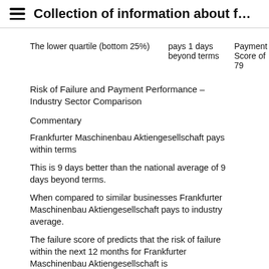Collection of information about f…
The lower quartile (bottom 25%)    pays 1 days beyond terms    Payment Score of 79
Risk of Failure and Payment Performance – Industry Sector Comparison
Commentary
Frankfurter Maschinenbau Aktiengesellschaft pays within terms
This is 9 days better than the national average of 9 days beyond terms.
When compared to similar businesses Frankfurter Maschinenbau Aktiengesellschaft pays to industry average.
The failure score of predicts that the risk of failure within the next 12 months for Frankfurter Maschinenbau Aktiengesellschaft is